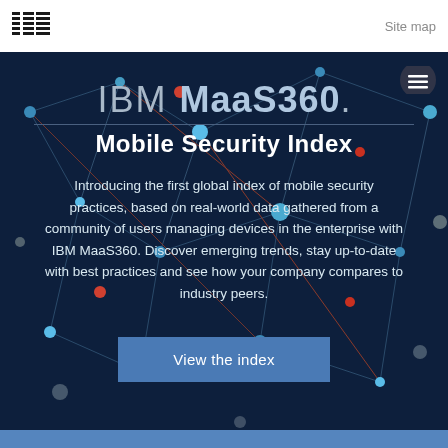IBM | Site map
IBM MaaS360. Mobile Security Index
Introducing the first global index of mobile security practices, based on real-world data gathered from a community of users managing devices in the enterprise with IBM MaaS360. Discover emerging trends, stay up-to-date with best practices and see how your company compares to industry peers.
View the index